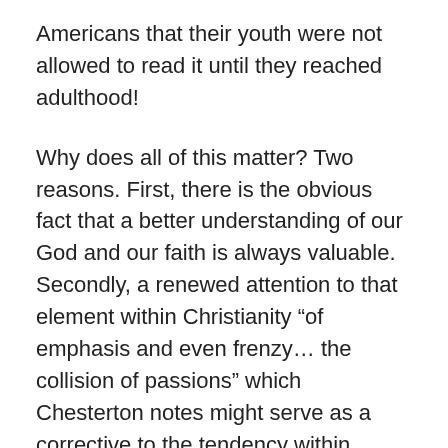Americans that their youth were not allowed to read it until they reached adulthood!
Why does all of this matter? Two reasons. First, there is the obvious fact that a better understanding of our God and our faith is always valuable. Secondly, a renewed attention to that element within Christianity “of emphasis and even frenzy… the collision of passions” which Chesterton notes might serve as a corrective to the tendency within comfortable American Christianity to be exceptional largely for our dullness. This is not to suggest an artificial fanning of passion, but rather a simple recognition that, contra the intuitive, classical view, virtue is not necessarily found in moderation, in a Goldilocksian “not too hot and not too cold;” that the faith which Dorothy Sayers